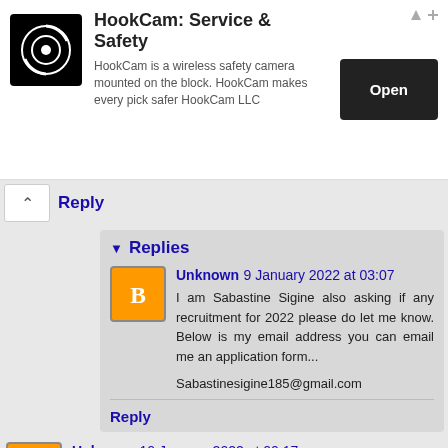[Figure (other): HookCam advertisement banner with logo, text, and Open button]
Reply
Replies
Unknown 9 January 2022 at 03:07
I am Sabastine Sigine also asking if any recruitment for 2022 please do let me know. Below is my email address you can email me an application form...

Sabastinesigine185@gmail.com
Reply
Unknown 10 January 2022 at 00:17
Please I Need a 2022 application Form for the recruitment